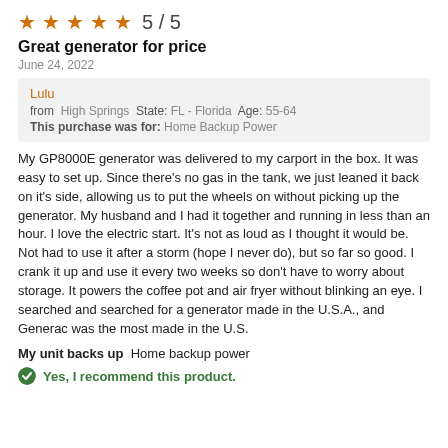[Figure (other): Five orange star rating icons followed by score 5 / 5]
Great generator for price
June 24, 2022
Lulu
from  High Springs  State: FL - Florida  Age: 55-64
This purchase was for: Home Backup Power
My GP8000E generator was delivered to my carport in the box. It was easy to set up. Since there's no gas in the tank, we just leaned it back on it's side, allowing us to put the wheels on without picking up the generator. My husband and I had it together and running in less than an hour. I love the electric start. It's not as loud as I thought it would be. Not had to use it after a storm (hope I never do), but so far so good. I crank it up and use it every two weeks so don't have to worry about storage. It powers the coffee pot and air fryer without blinking an eye. I searched and searched for a generator made in the U.S.A., and Generac was the most made in the U.S.
My unit backs up  Home backup power
Yes, I recommend this product.